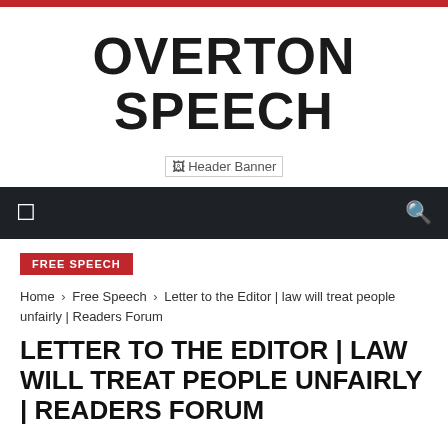OVERTON SPEECH
[Figure (other): Header Banner placeholder image]
FREE SPEECH
Home › Free Speech › Letter to the Editor | law will treat people unfairly | Readers Forum
LETTER TO THE EDITOR | LAW WILL TREAT PEOPLE UNFAIRLY | READERS FORUM